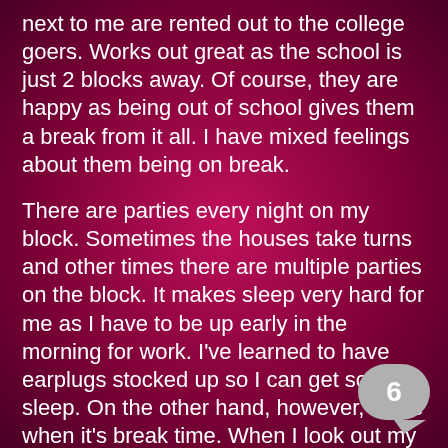next to me are rented out to the college goers. Works out great as the school is just 2 blocks away. Of course, they are happy as being out of school gives them a break from it all. I have mixed feelings about them being on break.
There are parties every night on my block. Sometimes the houses take turns and other times there are multiple parties on the block. It makes sleep very hard for me as I have to be up early in the morning for work. I've learned to have earplugs stocked up so I can get some sleep. On the other hand, however, I love when it's break time. When I look out my window I get to see all the young hot cock out there. Summer parties show their sexy bodies, muscles, tans and bulges in their shorts. Summer parties definitely my favorite.